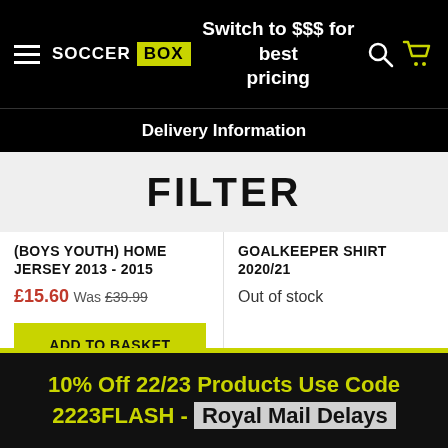SOCCER BOX | Switch to $$$ for best pricing
Delivery Information
FILTER
(BOYS YOUTH) HOME JERSEY 2013 - 2015
£15.60 Was £39.99
ADD TO BASKET
GOALKEEPER SHIRT 2020/21
Out of stock
10% Off 22/23 Products Use Code 2223FLASH - Royal Mail Delays